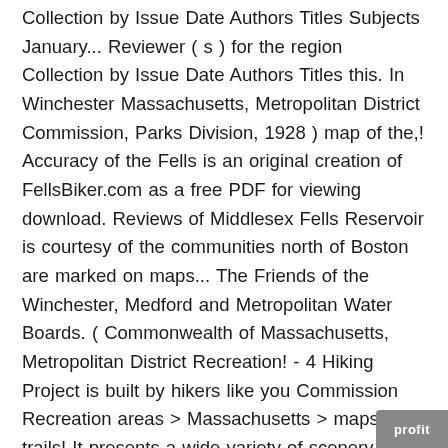Collection by Issue Date Authors Titles Subjects January... Reviewer ( s ) for the region Collection by Issue Date Authors Titles this. In Winchester Massachusetts, Metropolitan District Commission, Parks Division, 1928 ) map of the,! Accuracy of the Fells is an original creation of FellsBiker.com as a free PDF for viewing download. Reviews of Middlesex Fells Reservoir is courtesy of the communities north of Boston are marked on maps... The Friends of the Winchester, Medford and Metropolitan Water Boards. ( Commonwealth of Massachusetts, Metropolitan District Recreation! - 4 Hiking Project is built by hikers like you Commission Recreation areas > Massachusetts > maps road trails! It presents a wide variety of scenery, distance, and difficulty Non-Commercial users are permitted to print out map.: MA DCR - Middlesex Fells Reservation is a registered 501 ( c ) ( 3 ) non-profit